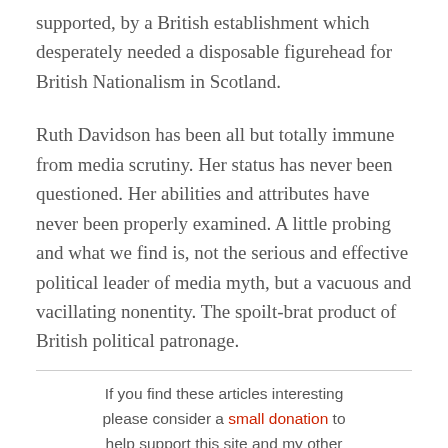supported, by a British establishment which desperately needed a disposable figurehead for British Nationalism in Scotland.
Ruth Davidson has been all but totally immune from media scrutiny. Her status has never been questioned. Her abilities and attributes have never been properly examined. A little probing and what we find is, not the serious and effective political leader of media myth, but a vacuous and vacillating nonentity. The spoilt-brat product of British political patronage.
If you find these articles interesting please consider a small donation to help support this site and my other